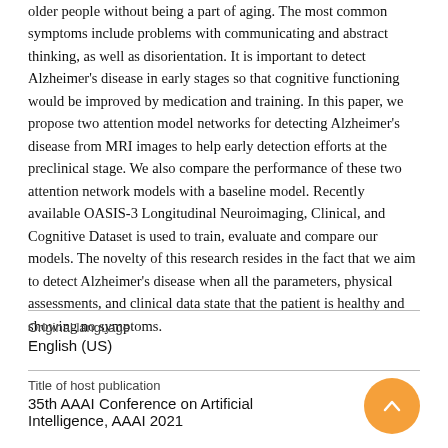older people without being a part of aging. The most common symptoms include problems with communicating and abstract thinking, as well as disorientation. It is important to detect Alzheimer's disease in early stages so that cognitive functioning would be improved by medication and training. In this paper, we propose two attention model networks for detecting Alzheimer's disease from MRI images to help early detection efforts at the preclinical stage. We also compare the performance of these two attention network models with a baseline model. Recently available OASIS-3 Longitudinal Neuroimaging, Clinical, and Cognitive Dataset is used to train, evaluate and compare our models. The novelty of this research resides in the fact that we aim to detect Alzheimer's disease when all the parameters, physical assessments, and clinical data state that the patient is healthy and showing no symptoms.
Original language
English (US)
Title of host publication
35th AAAI Conference on Artificial Intelligence, AAAI 2021